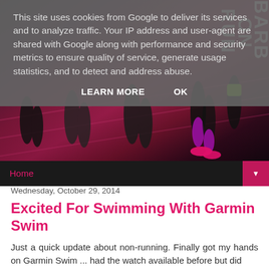This site uses cookies from Google to deliver its services and to analyze traffic. Your IP address and user-agent are shared with Google along with performance and security metrics to ensure quality of service, generate usage statistics, and to detect and address abuse.
LEARN MORE    OK
[Figure (photo): Hero banner photo of runners on a pink/magenta running track, with the blog logo 'BARB ON RUN' displayed vertically in white text on the right side.]
Home ▼
Wednesday, October 29, 2014
Excited For Swimming With Garmin Swim
Just a quick update about non-running. Finally got my hands on Garmin Swim ... had the watch available before but did